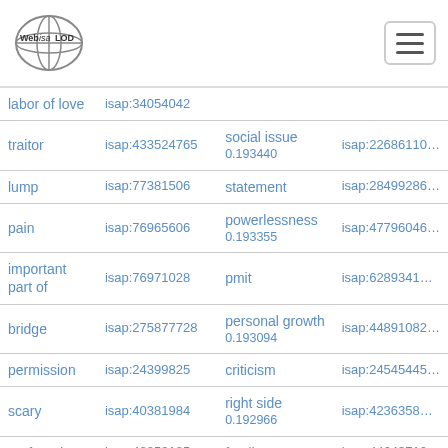[Figure (logo): Web isa LOD logo with globe icon]
| term | isap id | concept | isap concept id |
| --- | --- | --- | --- |
| labor of love | isap:34054042 |  |  |
| traitor | isap:433524765 | social issue 0.193440 | isap:226861100 |
| lump | isap:77381506 | statement | isap:284992860 |
| pain | isap:76965606 | powerlessness 0.193355 | isap:477960460 |
| important part of | isap:76971028 | pmit | isap:62893410 |
| bridge | isap:275877728 | personal growth 0.193094 | isap:448910820 |
| permission | isap:24399828 | criticism | isap:245454450 |
| scary | isap:40381984 | right side 0.192966 | isap:423635880 |
| profound | isap:48853185 | family | isap:446437100 |
| room | isap:77128157 | for 0.192708 | isap:236862760 |
| thread | isap:27331276 | production | isap:218536890 |
|  |  | misery | isap:449410990 |